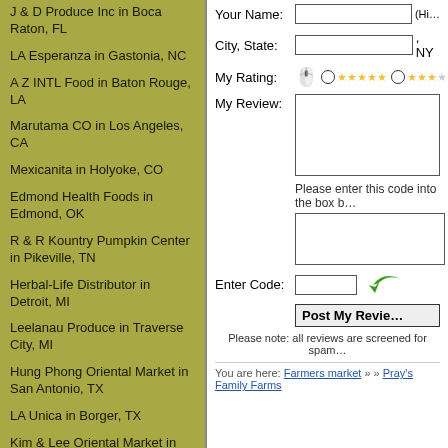J & D Produce Inc in Boca Raton, FL
LA Esperanza in Gastonia, NC
A Z INTL Food in Baton Rouge, LA
Marutama CO in Los Angeles, CA
Mexicanita in Holyoke, CO
Edmond Health Foods in Edmond, OK
R & R Kountry Pumpkin Center in Pikeville, TN
Herbal-Life Distributor in Detroit, MI
Leelanau Produce in Traverse City, MI
Hung Phong Oriental Market in San Antonio, TX
LA Unica in Borger, TX
Kim & Lee Oriental Market in Fort Lauderdale, FL
HAI Nguyen Market in Minneapolis, MN
Alejandra Creaciones & Leda's in Slidell, LA
Lum's Food Market in Rossville, GA
[Figure (screenshot): Web form with fields for Your Name, City/State, My Rating (star rating with radio buttons and thumbs icon), My Review (textarea), CAPTCHA code box, Enter Code input with green arrow, Post My Review button, and note about spam screening. Breadcrumb at bottom: You are here: Farmers market >> Pray's Family Farms]
You are here: Farmers market » » Pray's Family Farms